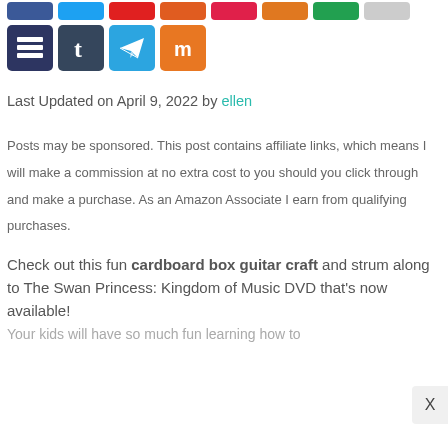[Figure (other): Row of social sharing icon buttons (partial top row visible): dark blue layers icon, Tumblr dark blue, Telegram blue, Mixcloud orange]
Last Updated on April 9, 2022 by ellen
Posts may be sponsored. This post contains affiliate links, which means I will make a commission at no extra cost to you should you click through and make a purchase. As an Amazon Associate I earn from qualifying purchases.
Check out this fun cardboard box guitar craft and strum along to The Swan Princess: Kingdom of Music DVD that's now available!
Your kids will have so much fun learning how to